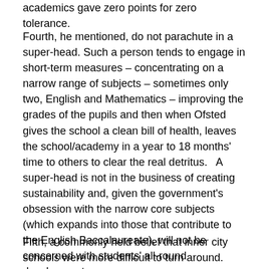academics gave zero points for zero tolerance.
Fourth, he mentioned, do not parachute in a super-head. Such a person tends to engage in short-term measures – concentrating on a narrow range of subjects – sometimes only two, English and Mathematics – improving the grades of the pupils and then when Ofsted gives the school a clean bill of health, leaves the school/academy in a year to 18 months' time to others to clear the real detritus.   A super-head is not in the business of creating sustainability and, given the government's obsession with the narrow core subjects (which expands into those that contribute to the English Baccalaureate), will not be concerned with students' all-round development.
Fifth, a commonly held belief that inner city schools were more difficult to turn around.  This was not true as inner